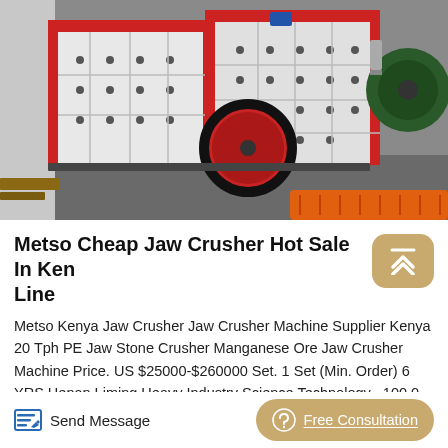[Figure (photo): Industrial jaw crusher machines in white and red, with large black and red flywheels, on a factory floor. Multiple crusher units visible side by side.]
Metso Cheap Jaw Crusher Hot Sale In Ken... Line
Metso Kenya Jaw Crusher Jaw Crusher Machine Supplier Kenya 20 Tph PE Jaw Stone Crusher Manganese Ore Jaw Crusher Machine Price. US $25000-$260000 Set. 1 Set (Min. Order) 6 YRS Henan Liming Heavy Industry Science Technology . 100.0 .
Send Message | Free Consultation